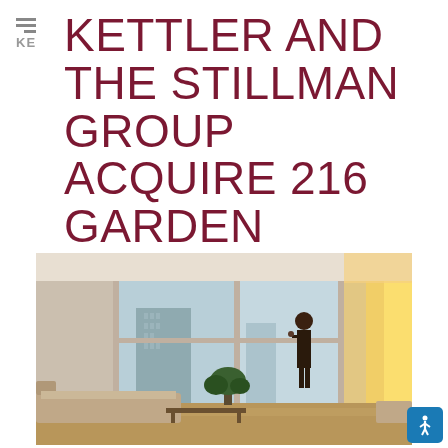KETTLER AND THE STILLMAN GROUP ACQUIRE 216 GARDEN APARTMENT UNITS IN NORTH CHARLESTON, SC
[Figure (photo): Interior of a modern apartment with floor-to-ceiling windows, a woman standing near the glass looking out at a city skyline, a sofa and coffee table in the foreground, and warm afternoon sunlight streaming in from the right side.]